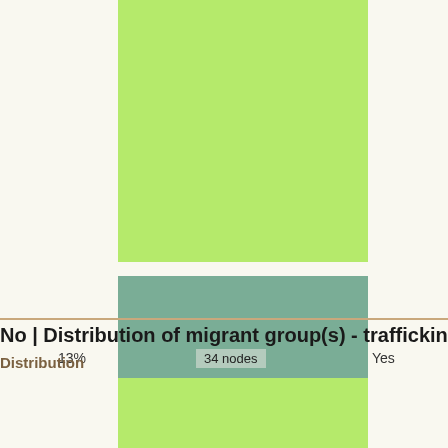[Figure (other): Treemap or mosaic chart showing distribution with green (light green) block top-left, teal block bottom-left, with labels '13%', '34 nodes', 'Yes'. A 'Get SVG' button appears at right center.]
No | Distribution of migrant group(s) - trafficking
Distribution
Distribution re
[Figure (other): Partial treemap blocks visible at bottom showing light green rectangles]